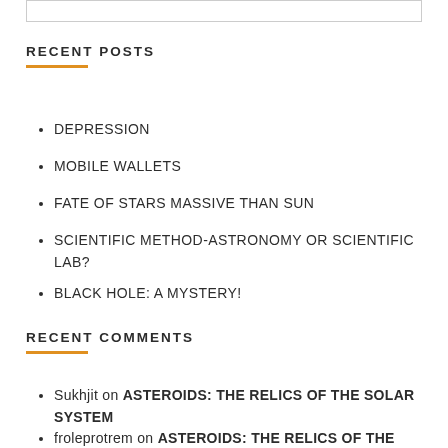RECENT POSTS
DEPRESSION
MOBILE WALLETS
FATE OF STARS MASSIVE THAN SUN
SCIENTIFIC METHOD-ASTRONOMY OR SCIENTIFIC LAB?
BLACK HOLE: A MYSTERY!
RECENT COMMENTS
Sukhjit on ASTEROIDS: THE RELICS OF THE SOLAR SYSTEM
froleprotrem on ASTEROIDS: THE RELICS OF THE